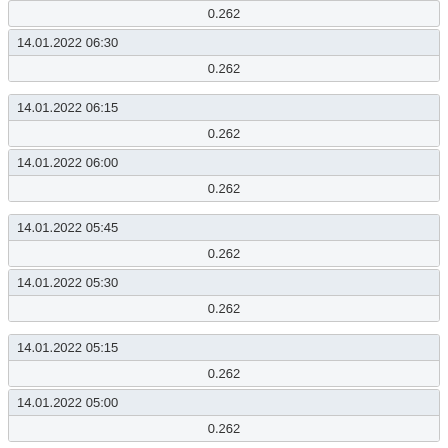| datetime | value |
| --- | --- |
|  | 0.262 |
| 14.01.2022 06:30 | 0.262 |
| 14.01.2022 06:15 | 0.262 |
| 14.01.2022 06:00 | 0.262 |
| 14.01.2022 05:45 | 0.262 |
| 14.01.2022 05:30 | 0.262 |
| 14.01.2022 05:15 | 0.262 |
| 14.01.2022 05:00 | 0.262 |